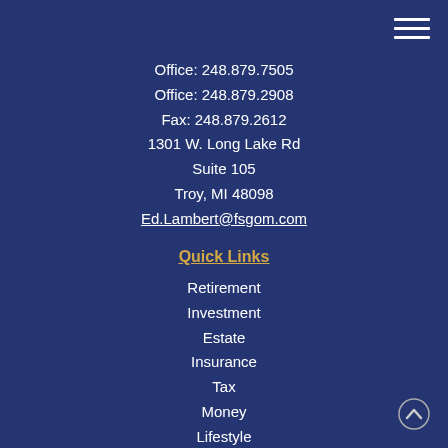[Figure (other): Hamburger menu icon (three horizontal white lines) in top-right corner]
Office: 248.879.7505
Office: 248.879.2908
Fax: 248.879.2612
1301 W. Long Lake Rd
Suite 105
Troy, MI 48098
Ed.Lambert@fsgom.com
Quick Links
Retirement
Investment
Estate
Insurance
Tax
Money
Lifestyle
All Articles
[Figure (other): Scroll-to-top chevron arrow icon in bottom-right corner]